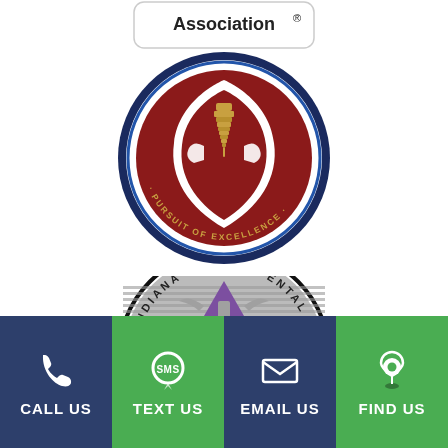[Figure (logo): Partial dental association badge/logo at top, showing 'Association ®' text]
[Figure (logo): International Dental Implant Association circular logo with navy border, red and white shield, gold dental implant screw, text reading 'INTERNATIONAL DENTAL IMPLANT ASSOCIATION' and 'PURSUIT OF EXCELLENCE']
[Figure (logo): Indiana Dental Association circular logo with black border, purple triangle, caduceus symbol, striped background, text reading 'INDIANA DENTAL' and 'IDA' in large letters]
[Figure (infographic): Bottom navigation bar with four buttons: CALL US (dark blue, phone icon), TEXT US (green, SMS speech bubble icon), EMAIL US (dark blue, envelope icon), FIND US (green, map pin icon)]